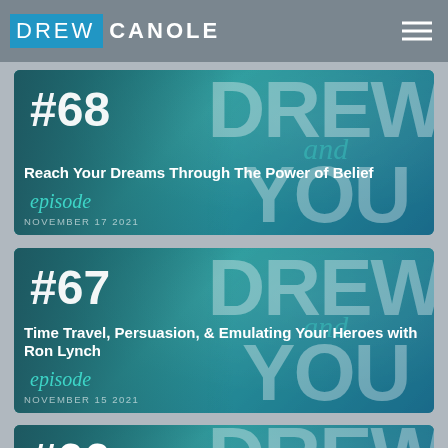DREW CANOLE
[Figure (screenshot): Episode card #68 - Reach Your Dreams Through The Power of Belief, November 17 2021, teal background with Drew Canole face and large DREW and YOU text overlay]
[Figure (screenshot): Episode card #67 - Time Travel, Persuasion, & Emulating Your Heroes with Ron Lynch, November 15 2021, teal background with Drew Canole face and large DREW and YOU text overlay]
[Figure (screenshot): Episode card #66 - partial view, teal background with Drew Canole face]